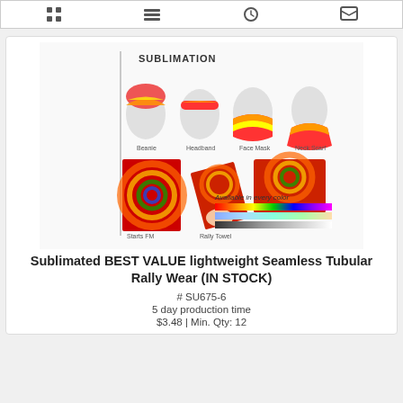[Figure (other): Top navigation bar with 4 icon buttons on white background with border]
[Figure (photo): Sublimation product image showing tie-dye rainbow pattern items: Beanie, Headband, Face Mask, Neck Scarf, Starts FM, Rally Towel, Hair Cover, Balaclava. Includes color swatch strip labeled 'Available in every color'.]
Sublimated BEST VALUE lightweight Seamless Tubular Rally Wear (IN STOCK)
# SU675-6
5 day production time
$3.48 | Min. Qty: 12